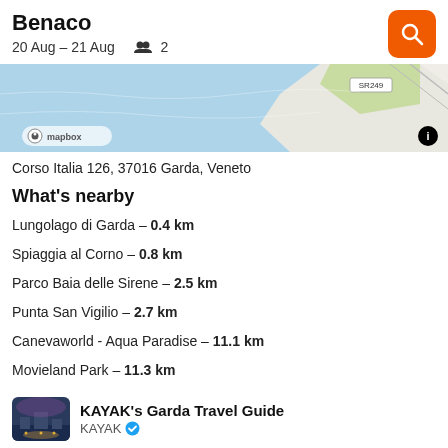Benaco
20 Aug – 21 Aug   👥 2
[Figure (map): Mapbox map showing coastal area near Garda, Veneto with SR249 road label and waterfront visible]
Corso Italia 126, 37016 Garda, Veneto
What's nearby
Lungolago di Garda – 0.4 km
Spiaggia al Corno – 0.8 km
Parco Baia delle Sirene – 2.5 km
Punta San Vigilio – 2.7 km
Canevaworld - Aqua Paradise – 11.1 km
Movieland Park – 11.3 km
KAYAK's Garda Travel Guide
KAYAK ✓